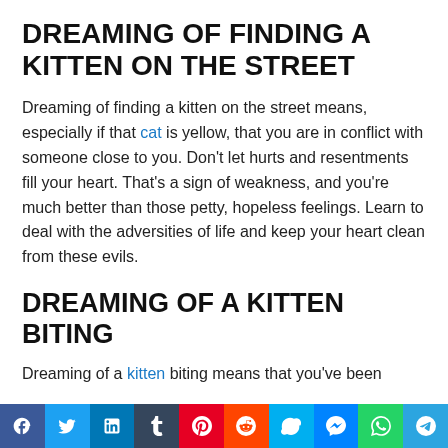DREAMING OF FINDING A KITTEN ON THE STREET
Dreaming of finding a kitten on the street means, especially if that cat is yellow, that you are in conflict with someone close to you. Don't let hurts and resentments fill your heart. That's a sign of weakness, and you're much better than those petty, hopeless feelings. Learn to deal with the adversities of life and keep your heart clean from these evils.
DREAMING OF A KITTEN BITING
Dreaming of a kitten biting means that you've been
Share bar with Facebook, Twitter, LinkedIn, Tumblr, Pinterest, Reddit, Skype, Messenger, WhatsApp, Telegram